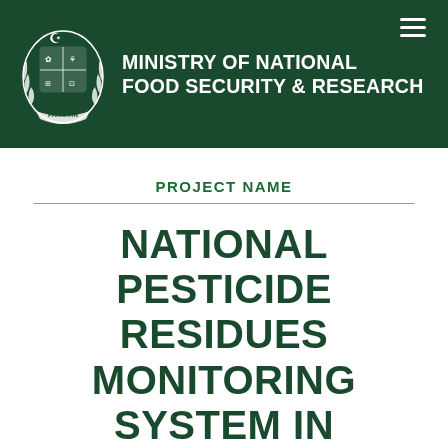[Figure (logo): Pakistan government emblem (white on dark green) alongside Ministry of National Food Security & Research text, with a hamburger menu icon in the top-right corner]
PROJECT NAME
NATIONAL PESTICIDE RESIDUES MONITORING SYSTEM IN PAKISTAN